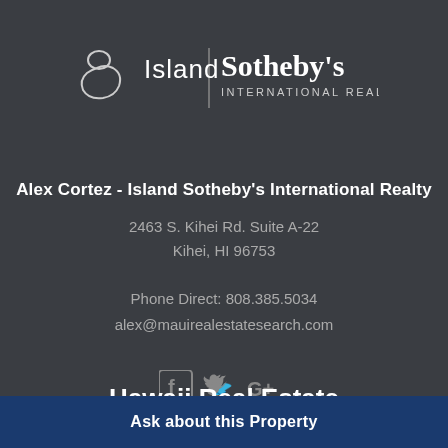[Figure (logo): Island Sotheby's International Realty logo with Hawaii island outline graphic, vertical divider, and text]
Alex Cortez - Island Sotheby's International Realty
2463 S. Kihei Rd. Suite A-22
Kihei, HI 96753
Phone Direct: 808.385.5034
alex@mauirealestatesearch.com
[Figure (illustration): Social media icons: Facebook, Twitter, Google+]
Hawaii Real Estate
Ask about this Property